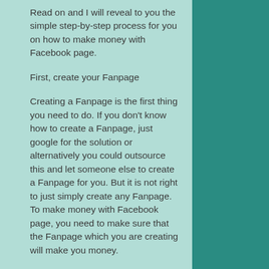Read on and I will reveal to you the simple step-by-step process for you on how to make money with Facebook page.
First, create your Fanpage
Creating a Fanpage is the first thing you need to do. If you don't know how to create a Fanpage, just google for the solution or alternatively you could outsource this and let someone else to create a Fanpage for you. But it is not right to just simply create any Fanpage. To make money with Facebook page, you need to make sure that the Fanpage which you are creating will make you money.
Now, the tricky question is how to ensure that the Fanpage you are creating will make you money?
The answer is very simple. Fanpages that will make you money are those with a